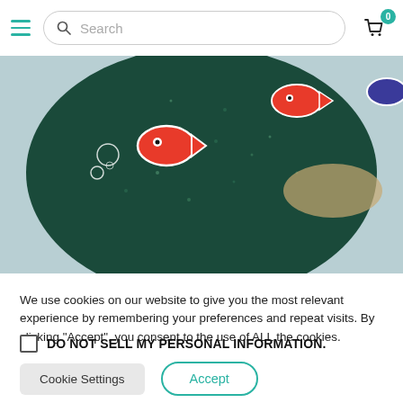Search [navigation bar with hamburger menu and cart]
[Figure (photo): Close-up photo of a circular decorative item with dark teal/green glittery background and colorful fish and bubble stickers/embellishments on top, placed on a light blue-grey cylindrical surface]
We use cookies on our website to give you the most relevant experience by remembering your preferences and repeat visits. By clicking “Accept”, you consent to the use of ALL the cookies.
DO NOT SELL MY PERSONAL INFORMATION.
Cookie Settings   Accept